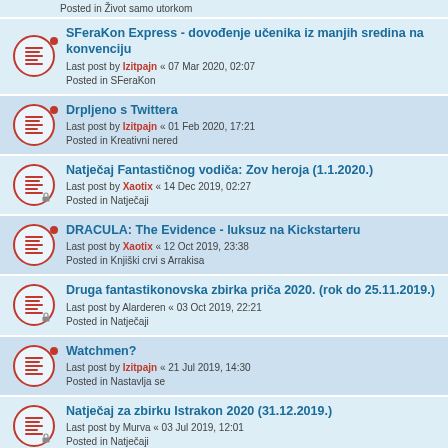Posted in Život samo utorkom
SFeraKon Express - dovođenje učenika iz manjih sredina na konvenciju
Last post by Izitpajn « 07 Mar 2020, 02:07
Posted in SFeraKon
Drpljeno s Twittera
Last post by Izitpajn « 01 Feb 2020, 17:21
Posted in Kreativni nered
Natječaj Fantastičnog vodiča: Zov heroja (1.1.2020.)
Last post by Xaotix « 14 Dec 2019, 02:27
Posted in Natječaji
DRACULA: The Evidence - luksuz na Kickstarteru
Last post by Xaotix « 12 Oct 2019, 23:38
Posted in Knjiški crvi s Arrakisa
Druga fantastikonovska zbirka priča 2020. (rok do 25.11.2019.)
Last post by Alarderen « 03 Oct 2019, 22:21
Posted in Natječaji
Watchmen?
Last post by Izitpajn « 21 Jul 2019, 14:30
Posted in Nastavlja se
Natječaj za zbirku Istrakon 2020 (31.12.2019.)
Last post by Murva « 03 Jul 2019, 12:01
Posted in Natječaji
Natječaj za FFK 2019 (05.08.2019)
Last post by Murva « 03 Jul 2019, 11:55